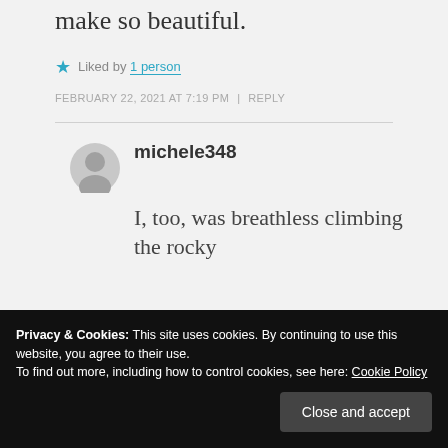make so beautiful.
Liked by 1 person
FEBRUARY 22, 2021 AT 7:19 PM  |  REPLY
michele348
I, too, was breathless climbing the rocky
Privacy & Cookies: This site uses cookies. By continuing to use this website, you agree to their use.
To find out more, including how to control cookies, see here: Cookie Policy
Close and accept